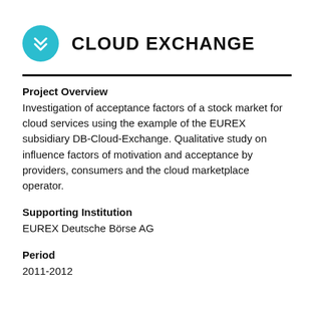CLOUD EXCHANGE
Project Overview
Investigation of acceptance factors of a stock market for cloud services using the example of the EUREX subsidiary DB-Cloud-Exchange. Qualitative study on influence factors of motivation and acceptance by providers, consumers and the cloud marketplace operator.
Supporting Institution
EUREX Deutsche Börse AG
Period
2011-2012